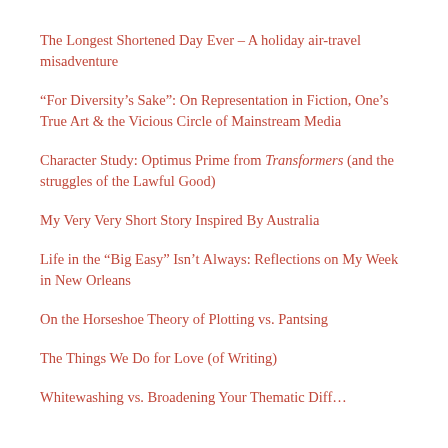The Longest Shortened Day Ever – A holiday air-travel misadventure
“For Diversity’s Sake”: On Representation in Fiction, One’s True Art & the Vicious Circle of Mainstream Media
Character Study: Optimus Prime from Transformers (and the struggles of the Lawful Good)
My Very Very Short Story Inspired By Australia
Life in the “Big Easy” Isn’t Always: Reflections on My Week in New Orleans
On the Horseshoe Theory of Plotting vs. Pantsing
The Things We Do for Love (of Writing)
Whitewashing vs. Broadening Your Thematic Diff...